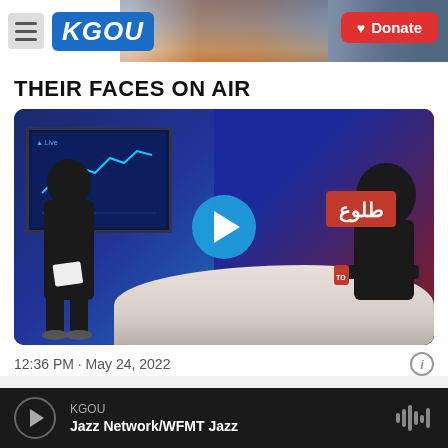KGOU | Donate
THEIR FACES ON AIR
[Figure (photo): Two women wearing dark hijabs and face masks in a TV news studio. One stands holding papers, one sits at a news desk. A blue play button overlay is visible in the center of the image. A red Tolo news logo is visible on the right side of the studio backdrop.]
12:36 PM · May 24, 2022
KGOU
Jazz Network/WFMT Jazz